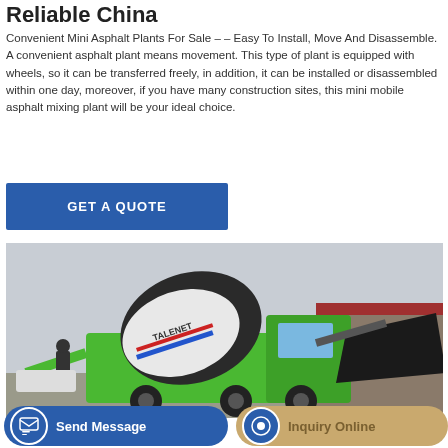Reliable China
Convenient Mini Asphalt Plants For Sale – – Easy To Install, Move And Disassemble. A convenient asphalt plant means movement. This type of plant is equipped with wheels, so it can be transferred freely, in addition, it can be installed or disassembled within one day, moreover, if you have many construction sites, this mini mobile asphalt mixing plant will be your ideal choice.
[Figure (other): Blue call-to-action button labeled GET A QUOTE]
[Figure (photo): A green self-loading concrete mixer truck (TALENET brand) on a construction site with a large black mixing drum and loading bucket]
[Figure (other): Bottom navigation bar with Send Message and Inquiry Online buttons]